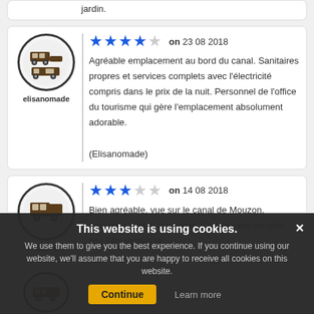jardin.
[Figure (illustration): Camper van avatar icon in circle for user elisanomade]
elisanomade
★★★★☆ on 23 08 2018
Agréable emplacement au bord du canal. Sanitaires propres et services complets avec l'électricité compris dans le prix de la nuit. Personnel de l'office du tourisme qui gère l'emplacement absolument adorable. (Elisanomade)
[Figure (illustration): Camper van avatar icon in circle for user taly76]
taly76
★★★☆☆ on 14 08 2018
Bien agréable, vue sur le canal de Mouzon, tranquille la nuit, au calme, 8 euros tous compris par 24h, sympa la
This website is using cookies.
We use them to give you the best experience. If you continue using our website, we'll assume that you are happy to receive all cookies on this website.
Continue   Learn more